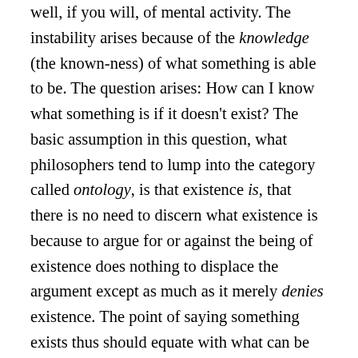well, if you will, of mental activity. The instability arises because of the knowledge (the known-ness) of what something is able to be. The question arises: How can I know what something is if it doesn't exist? The basic assumption in this question, what philosophers tend to lump into the category called ontology, is that existence is, that there is no need to discern what existence is because to argue for or against the being of existence does nothing to displace the argument except as much as it merely denies existence. The point of saying something exists thus should equate with what can be known, and so the instability of the situation is found in the human ability to choose on whether what exists is actually true. In this case, though, Anslem is dealing with the basis of all that exists as a category, namely, God;